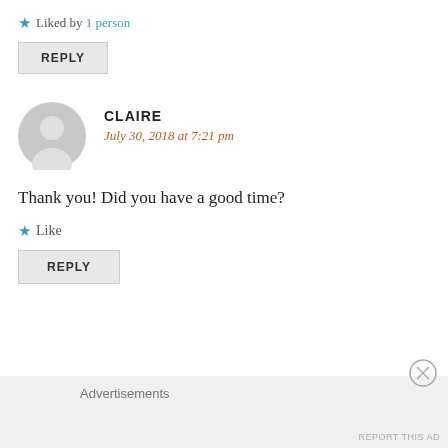★ Liked by 1 person
REPLY
CLAIRE
July 30, 2018 at 7:21 pm
Thank you! Did you have a good time?
★ Like
REPLY
Advertisements